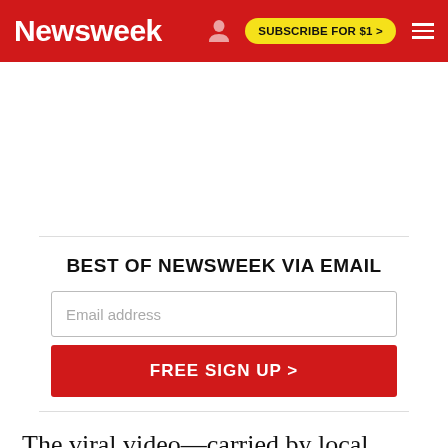Newsweek | SUBSCRIBE FOR $1 >
BEST OF NEWSWEEK VIA EMAIL
Email address
FREE SIGN UP >
The viral video—carried by local media including China's official press agency Xinhua